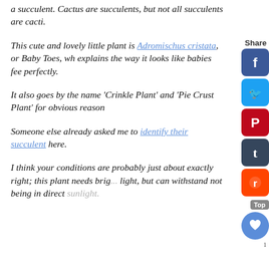a succulent. Cactus are succulents, but not all succulents are cacti.
This cute and lovely little plant is Adromischus cristata, or Baby Toes, wh explains the way it looks like babies fee perfectly.
It also goes by the name 'Crinkle Plant' and 'Pie Crust Plant' for obvious reason
Someone else already asked me to identify their succulent here.
I think your conditions are probably just about exactly right; this plant needs brig... light, but can withstand not being in direct sunlight.